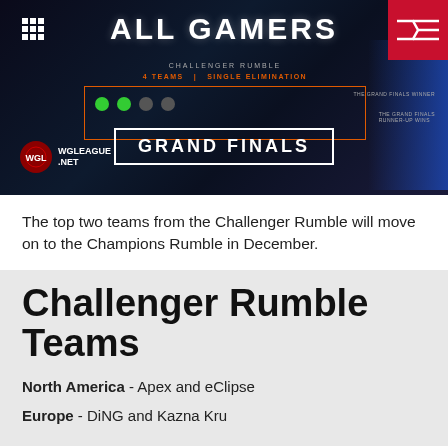[Figure (screenshot): All Gamers banner with WGL Grand Finals bracket image showing Challenger Rumble, 4 Teams, Single Elimination, with Grand Finals text and WGLeague.net logo. HyperX logo in top right corner.]
The top two teams from the Challenger Rumble will move on to the Champions Rumble in December.
Challenger Rumble Teams
North America - Apex and eClipse
Europe - DiNG and Kazna Kru